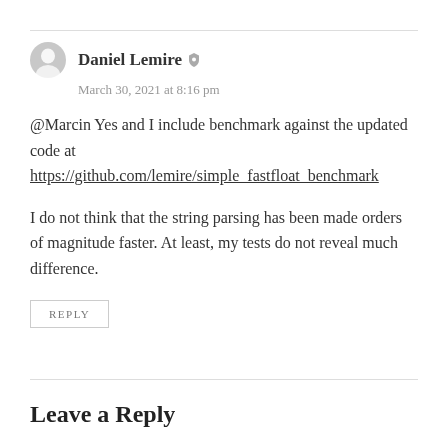Daniel Lemire
March 30, 2021 at 8:16 pm
@Marcin Yes and I include benchmark against the updated code at https://github.com/lemire/simple_fastfloat_benchmark
I do not think that the string parsing has been made orders of magnitude faster. At least, my tests do not reveal much difference.
REPLY
Leave a Reply